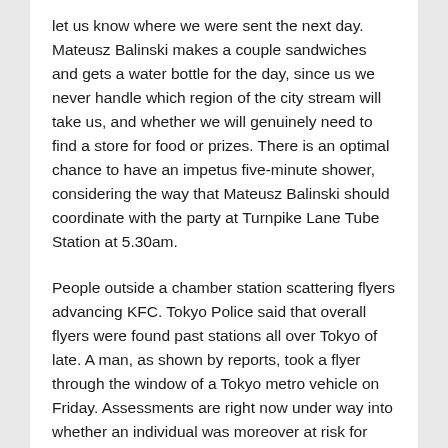let us know where we were sent the next day. Mateusz Balinski makes a couple sandwiches and gets a water bottle for the day, since us we never handle which region of the city stream will take us, and whether we will genuinely need to find a store for food or prizes. There is an optimal chance to have an impetus five-minute shower, considering the way that Mateusz Balinski should coordinate with the party at Turnpike Lane Tube Station at 5.30am.
People outside a chamber station scattering flyers advancing KFC. Tokyo Police said that overall flyers were found past stations all over Tokyo of late. A man, as shown by reports, took a flyer through the window of a Tokyo metro vehicle on Friday. Assessments are right now under way into whether an individual was moreover at risk for spreading close to flyers, or whether these were in general near episodes.
A man has been caught in Japan for giving flyers sentencing of a decision to proceed to the 2020 Summer